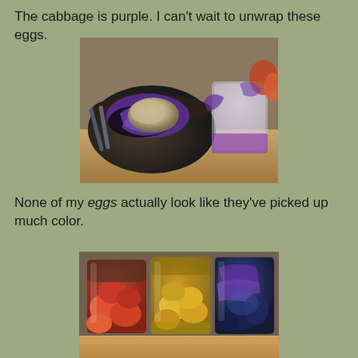The cabbage is purple. I can't wait to unwrap these eggs.
[Figure (photo): A dark bowl containing an egg wrapped in purple cabbage leaves, held by tongs, with a glass of purple liquid in the background on a wooden surface.]
None of my eggs actually look like they've picked up much color.
[Figure (photo): Three mason jars containing eggs dyed with natural dyes: left jar with red/beet-dyed eggs, middle jar with yellow/turmeric-dyed eggs, right jar with purple cabbage-dyed eggs on a wooden surface.]